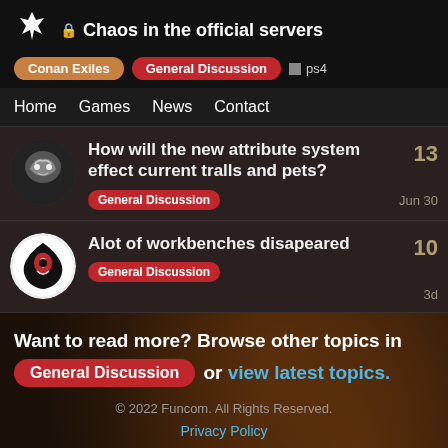🔒 Chaos in the official servers | Conan Exiles | General Discussion | ps4
Home   Games   News   Contact
How will the new attribute system effect current tralls and pets? | General Discussion | 13 | Jun 30
Alot of workbenches disapeared | General Discussion | 10 | 3d
Want to read more? Browse other topics in General Discussion or view latest topics.
© 2022 Funcom. All Rights Reserved.
Privacy Policy